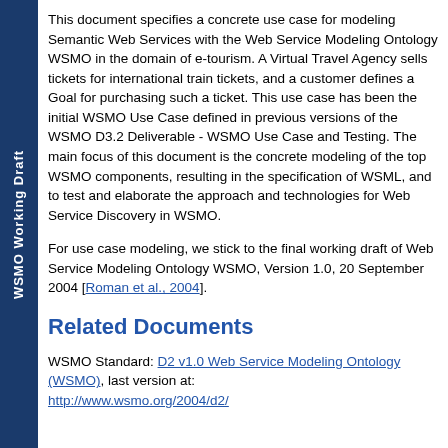WSMO Working Draft
This document specifies a concrete use case for modeling Semantic Web Services with the Web Service Modeling Ontology WSMO in the domain of e-tourism. A Virtual Travel Agency sells tickets for international train tickets, and a customer defines a Goal for purchasing such a ticket. This use case has been the initial WSMO Use Case defined in previous versions of the WSMO D3.2 Deliverable - WSMO Use Case and Testing. The main focus of this document is the concrete modeling of the top WSMO components, resulting in the specification of WSML, and to test and elaborate the approach and technologies for Web Service Discovery in WSMO.
For use case modeling, we stick to the final working draft of Web Service Modeling Ontology WSMO, Version 1.0, 20 September 2004 [Roman et al., 2004].
Related Documents
WSMO Standard: D2 v1.0 Web Service Modeling Ontology (WSMO), last version at: http://www.wsmo.org/2004/d2/